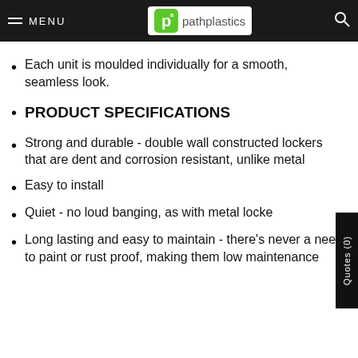MENU | pathplastics
Each unit is moulded individually for a smooth, seamless look.
PRODUCT SPECIFICATIONS
Strong and durable - double wall constructed lockers that are dent and corrosion resistant, unlike metal
Easy to install
Quiet - no loud banging, as with metal lockers
Long lasting and easy to maintain - there's never a need to paint or rust proof, making them low maintenance